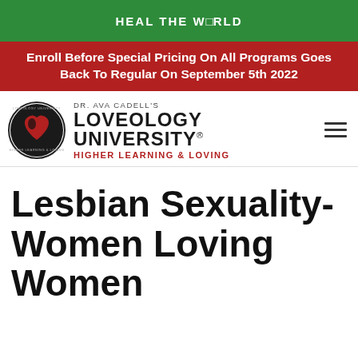HEAL THE WORLD
Enroll Before Special Pricing On All Programs Goes Back To Regular On September 5th 2022
[Figure (logo): Loveology University logo with circular emblem featuring a heart, text: DR. AVA CADELL'S LOVEOLOGY UNIVERSITY® HIGHER LEARNING & LOVING, and hamburger menu icon]
Lesbian Sexuality- Women Loving Women